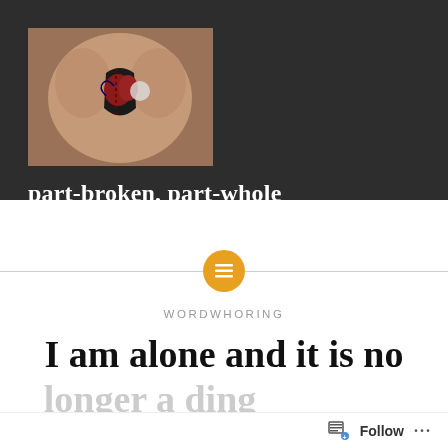[Figure (photo): A photo of a person's torso showing what appears to be an artistic or surreal image of exposed chest/heart anatomy, used as the blog's header image]
part-broken, part-whole
[Figure (infographic): Horizontal divider line with a golden/yellow circle containing a menu/lines icon in the center]
WORDWHORING
I am alone and it is no longer a ding...
Follow ...